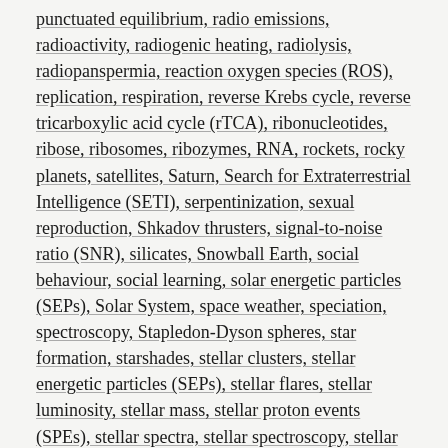punctuated equilibrium, radio emissions, radioactivity, radiogenic heating, radiolysis, radiopanspermia, reaction oxygen species (ROS), replication, respiration, reverse Krebs cycle, reverse tricarboxylic acid cycle (rTCA), ribonucleotides, ribose, ribosomes, ribozymes, RNA, rockets, rocky planets, satellites, Saturn, Search for Extraterrestrial Intelligence (SETI), serpentinization, sexual reproduction, Shkadov thrusters, signal-to-noise ratio (SNR), silicates, Snowball Earth, social behaviour, social learning, solar energetic particles (SEPs), Solar System, space weather, speciation, spectroscopy, Stapledon-Dyson spheres, star formation, starshades, stellar clusters, stellar energetic particles (SEPs), stellar flares, stellar luminosity, stellar mass, stellar proton events (SPEs), stellar spectra, stellar spectroscopy, stellar winds, subsurface oceans, sugars, sulfides, sulphur, Sun, supercontinents, superflares, supernovae, technology, technosignatures, telescopes, temperature, theory of mind, thermodynamics, thiols, tidal heating, tidal locking, tides, Titan (moon), tool use, tools, Transiting Exoplanet Satellite Survey (TESS), transiting